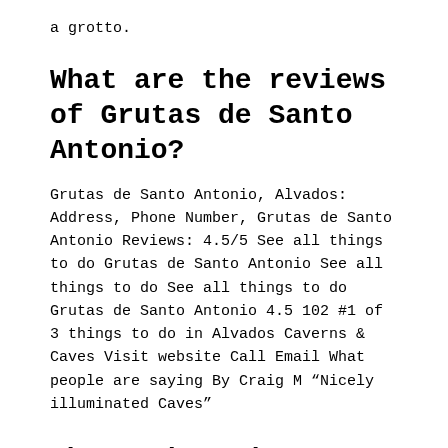a grotto.
What are the reviews of Grutas de Santo Antonio?
Grutas de Santo Antonio, Alvados: Address, Phone Number, Grutas de Santo Antonio Reviews: 4.5/5 See all things to do Grutas de Santo Antonio See all things to do See all things to do Grutas de Santo Antonio 4.5 102 #1 of 3 things to do in Alvados Caverns & Caves Visit website Call Email What people are saying By Craig M “Nicely illuminated Caves”
What makes the Gruta do Natal so special?